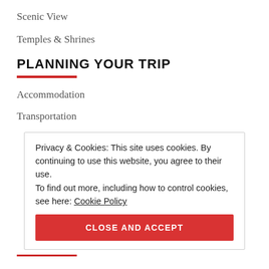Scenic View
Temples & Shrines
PLANNING YOUR TRIP
Accommodation
Transportation
Privacy & Cookies: This site uses cookies. By continuing to use this website, you agree to their use.
To find out more, including how to control cookies, see here: Cookie Policy
CLOSE AND ACCEPT